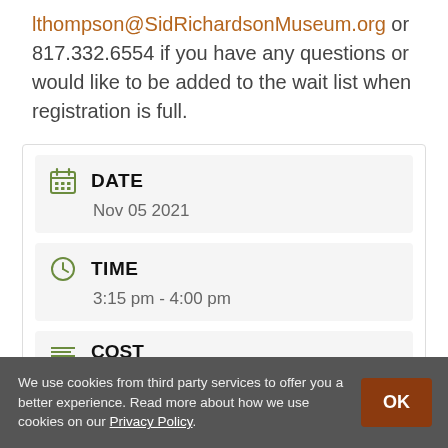lthompson@SidRichardsonMuseum.org or 817.332.6554 if you have any questions or would like to be added to the wait list when registration is full.
DATE
Nov 05 2021
TIME
3:15 pm - 4:00 pm
We use cookies from third party services to offer you a better experience. Read more about how we use cookies on our Privacy Policy.